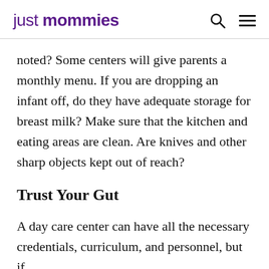just mommies
noted? Some centers will give parents a monthly menu. If you are dropping an infant off, do they have adequate storage for breast milk? Make sure that the kitchen and eating areas are clean. Are knives and other sharp objects kept out of reach?
Trust Your Gut
A day care center can have all the necessary credentials, curriculum, and personnel, but if